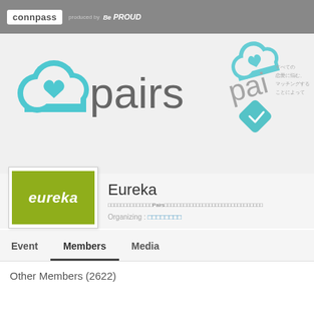connpass produced by Be PROUD
[Figure (logo): Pairs cloud heart logo with text 'pairs' in teal and grey, shown twice (main and background right)]
[Figure (logo): Eureka logo — white italic text 'eureka' on olive/yellow-green rectangle background, inside white bordered box]
Eureka
（Japanese text）Pairs（Japanese text）
Organizing : （Japanese text）
Event   Members   Media
Other Members (2622)